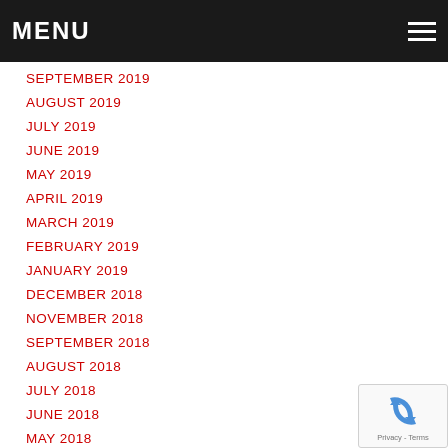MENU
SEPTEMBER 2019
AUGUST 2019
JULY 2019
JUNE 2019
MAY 2019
APRIL 2019
MARCH 2019
FEBRUARY 2019
JANUARY 2019
DECEMBER 2018
NOVEMBER 2018
SEPTEMBER 2018
AUGUST 2018
JULY 2018
JUNE 2018
MAY 2018
APRIL 2018
MARCH 2018
FEBRUARY 2018